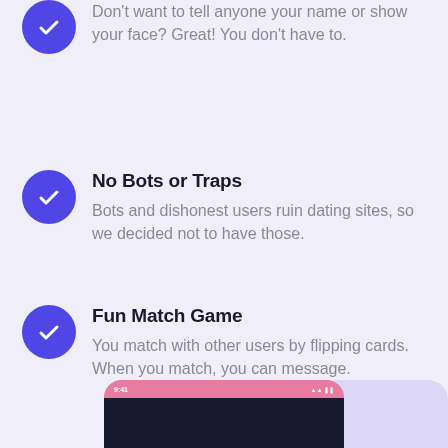Don't want to tell anyone your name or show your face? Great! You don't have to.
No Bots or Traps
Bots and dishonest users ruin dating sites, so we decided not to have those.
Fun Match Game
You match with other users by flipping cards. When you match, you can message.
[Figure (screenshot): Bottom of a mobile phone mockup with pink top bar showing 9:41 time and signal/wifi/battery icons, with dark screen content below, partially visible at bottom of page]